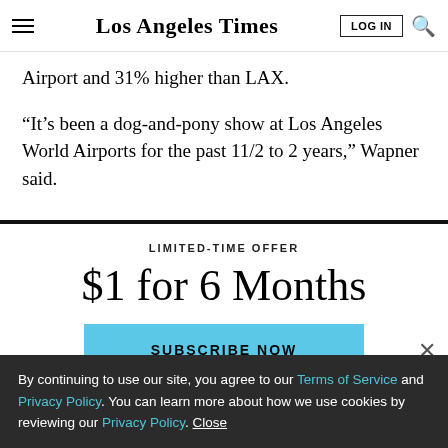Los Angeles Times
Airport and 31% higher than LAX.
“It’s been a dog-and-pony show at Los Angeles World Airports for the past 11/2 to 2 years,” Wapner said.
LIMITED-TIME OFFER
$1 for 6 Months
SUBSCRIBE NOW
By continuing to use our site, you agree to our Terms of Service and Privacy Policy. You can learn more about how we use cookies by reviewing our Privacy Policy. Close